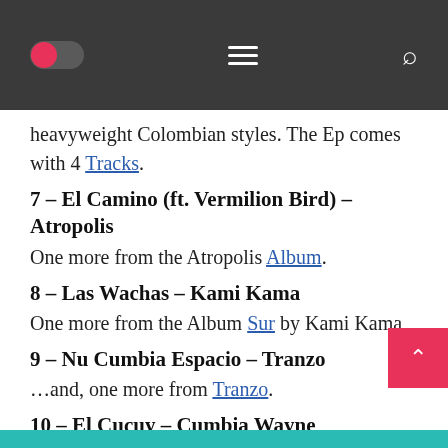[navigation bar with toggle, menu, and search icons]
heavyweight Colombian styles. The Ep comes with 4 Tracks.
7 – El Camino (ft. Vermilion Bird) – Atropolis
One more from the Atropolis Album.
8 – Las Wachas – Kami Kama
One more from the Album Sur by Kami Kama
9 – Nu Cumbia Espacio – Tranzo
…and, one more from Tranzo.
10 – El Cucuy – Cumbia Wayne
Through love and comedy Cumbia Wayne has found his calling to spread the love of ancient world music such as Cumbia to keep the w dancing into the future.